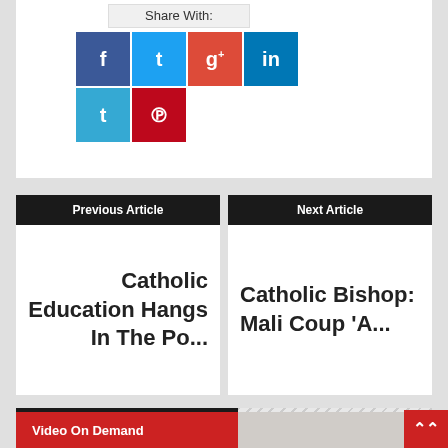Share with:
[Figure (infographic): Social sharing buttons: Facebook (f), Twitter (bird), Google+ (g+), LinkedIn (in), Tumblr (t), Pinterest (P)]
Previous Article
Catholic Education Hangs In The Po...
Next Article
Catholic Bishop: Mali Coup 'A...
Latest Videos
Video On Demand